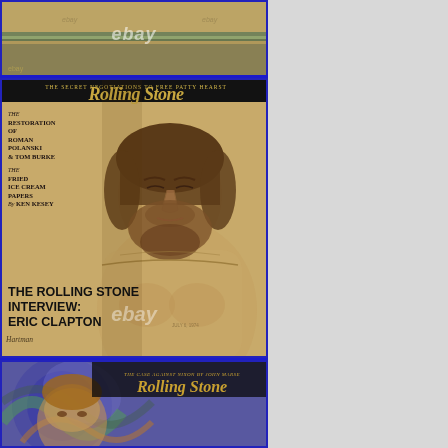[Figure (photo): Top portion of an eBay listing showing the top edge of a Rolling Stone magazine with green binding, photographed on a shelf. eBay watermark visible.]
[Figure (photo): Rolling Stone magazine cover featuring Eric Clapton shirtless with beard, eyes closed, sketch-style illustration. Cover text reads: 'THE SECRET NEGOTIATIONS TO FREE PATTY HEARST', 'THE RESTORATION OF ROMAN POLANSKI & TOM BURKE', 'THE FRIED ICE CREAM PAPERS By KEN KESEY', 'THE ROLLING STONE INTERVIEW: ERIC CLAPTON'. eBay watermark visible.]
[Figure (photo): Bottom portion of another Rolling Stone magazine showing psychedelic cover design with 'THE CASE AGAINST NIXON BY JOHN MARSE' text visible and Rolling Stone masthead.]